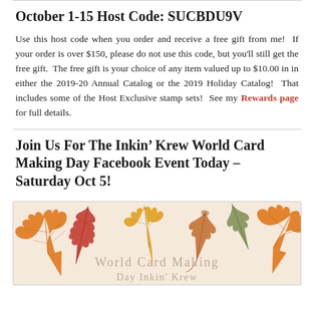October 1-15 Host Code: SUCBDU9V
Use this host code when you order and receive a free gift from me!  If your order is over $150, please do not use this code, but you'll still get the free gift.  The free gift is your choice of any item valued up to $10.00 in in either the 2019-20 Annual Catalog or the 2019 Holiday Catalog!  That includes some of the Host Exclusive stamp sets!  See my Rewards page for full details.
Join Us For The Inkin’ Krew World Card Making Day Facebook Event Today – Saturday Oct 5!
[Figure (illustration): Autumn leaves decorative banner image for World Card Making Day Inkin' Krew event with orange, red, yellow, and green leaves on a cream background with the text 'World Card Making Day Inkin' Krew']